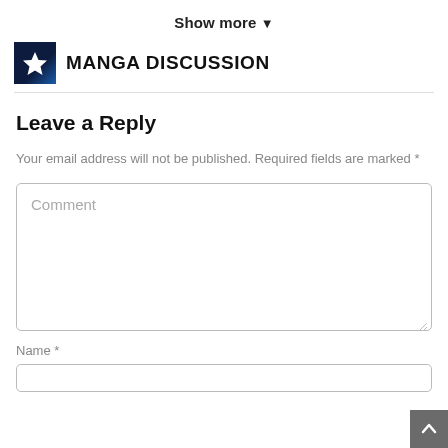Show more ▼
MANGA DISCUSSION
Leave a Reply
Your email address will not be published. Required fields are marked *
Comment
Name *